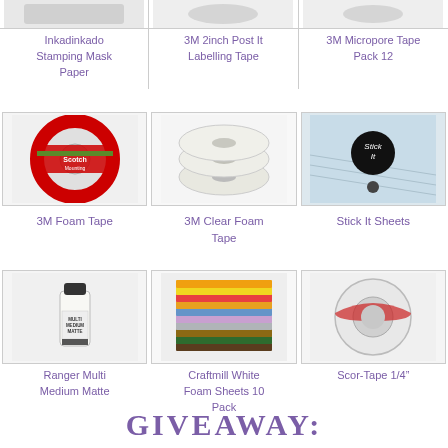[Figure (photo): Inkadinkado Stamping Mask Paper product image (partially visible at top)]
[Figure (photo): 3M 2inch Post It Labelling Tape product image (partially visible at top)]
[Figure (photo): 3M Micropore Tape Pack 12 product image (partially visible at top)]
Inkadinkado Stamping Mask Paper
3M 2inch Post It Labelling Tape
3M Micropore Tape Pack 12
[Figure (photo): 3M Foam Tape - Scotch mounting tape roll]
[Figure (photo): 3M Clear Foam Tape - two foam tape rolls]
[Figure (photo): Stick It Sheets - decorative packaging]
3M Foam Tape
3M Clear Foam Tape
Stick It Sheets
[Figure (photo): Ranger Multi Medium Matte bottle]
[Figure (photo): Craftmill White Foam Sheets 10 Pack - colorful stacked foam sheets]
[Figure (photo): Scor-Tape 1/4 inch - thin tape roll]
Ranger Multi Medium Matte
Craftmill White Foam Sheets 10 Pack
Scor-Tape 1/4"
GIVEAWAY: